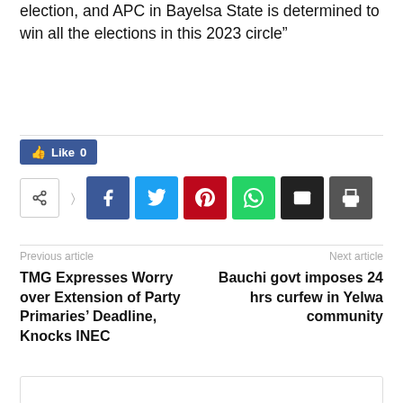election, and APC in Bayelsa State is determined to win all the elections in this 2023 circle”
[Figure (other): Social sharing bar with Like button (count 0) and share icons for Facebook, Twitter, Pinterest, WhatsApp, Email, Print]
Previous article
Next article
TMG Expresses Worry over Extension of Party Primaries’ Deadline, Knocks INEC
Bauchi govt imposes 24 hrs curfew in Yelwa community